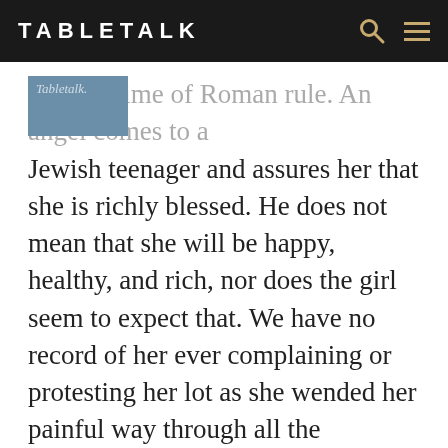TABLETALK
Tabletalk.
It is the time of Roman rule. An angel comes to a Jewish teenager and assures her that she is richly blessed. He does not mean that she will be happy, healthy, and rich, nor does the girl seem to expect that. We have no record of her ever complaining or protesting her lot as she wended her painful way through all the experiences mentioned above. What, then? If God’s blessing and favor don’t guarantee happiness and peace, what do they give? What does the angel (and later Elizabeth) mean by calling Mary blessed? God has planned for Mary a chance to serve. He has designed for her an enormous role